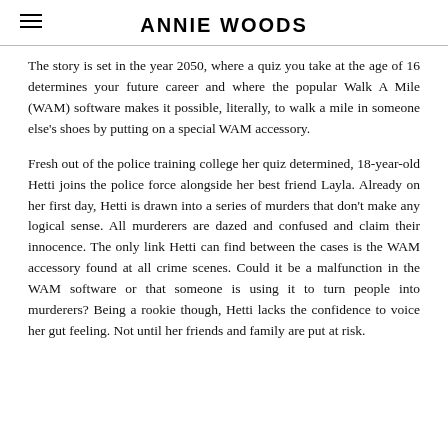ANNIE WOODS
The story is set in the year 2050, where a quiz you take at the age of 16 determines your future career and where the popular Walk A Mile (WAM) software makes it possible, literally, to walk a mile in someone else's shoes by putting on a special WAM accessory.
Fresh out of the police training college her quiz determined, 18-year-old Hetti joins the police force alongside her best friend Layla. Already on her first day, Hetti is drawn into a series of murders that don't make any logical sense. All murderers are dazed and confused and claim their innocence. The only link Hetti can find between the cases is the WAM accessory found at all crime scenes. Could it be a malfunction in the WAM software or that someone is using it to turn people into murderers? Being a rookie though, Hetti lacks the confidence to voice her gut feeling. Not until her friends and family are put at risk.